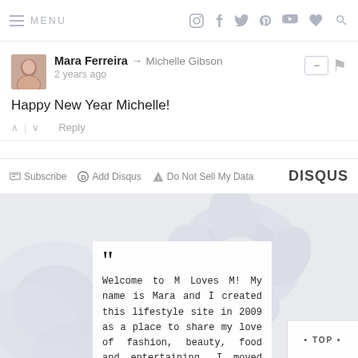≡ MENU  [Instagram] [Facebook] [Twitter] [Pinterest] [YouTube] [Heart] [Search]
Mara Ferreira → Michelle Gibson
2 years ago
Happy New Year Michelle!
↑ | ↓   Reply
✉ Subscribe  D Add Disqus  ▲ Do Not Sell My Data    DISQUS
[Figure (photo): Floral background with white/grey flowers and a bio card with large quotation marks. Bio text reads: Welcome to M Loves M! My name is Mara and I created this lifestyle site in 2009 as a place to share my love of fashion, beauty, food and entertaining. I moved from Southern California to Idaho and love adventuring]
Welcome to M Loves M! My name is Mara and I created this lifestyle site in 2009 as a place to share my love of fashion, beauty, food and entertaining. I moved from Southern California to Idaho and love adventuring